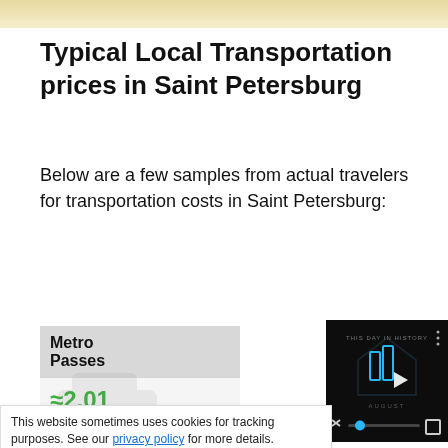[Figure (photo): Top banner image strip showing a blurred travel scene]
Typical Local Transportation prices in Saint Petersburg
Below are a few samples from actual travelers for transportation costs in Saint Petersburg:
| Metro Passes |
| --- |
| ≈2.01 |
This website sometimes uses cookies for tracking purposes. See our privacy policy for more details.
[Figure (screenshot): Video player overlay showing 'This Day in History' video with play controls and progress bar]
Hired Cars and...